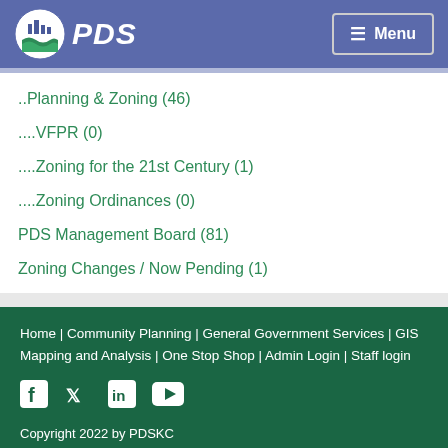[Figure (logo): PDS logo with circular badge and text PDS]
..Planning & Zoning (46)
....VFPR (0)
....Zoning for the 21st Century (1)
....Zoning Ordinances (0)
PDS Management Board (81)
Zoning Changes / Now Pending (1)
Home | Community Planning | General Government Services | GIS Mapping and Analysis | One Stop Shop | Admin Login | Staff login
Copyright 2022 by PDSKC
1840 Simon Kenton Way, Suite 3400, Covington, Kentucky 41011-2999